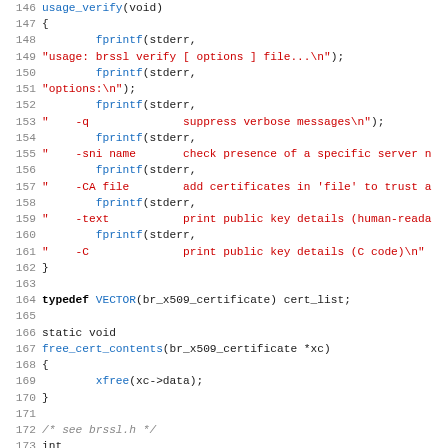[Figure (screenshot): Source code listing in C showing lines 146-178 of a brssl verify utility, with syntax highlighting. Line numbers in gray, keywords in black bold, string literals in red, function names in blue.]